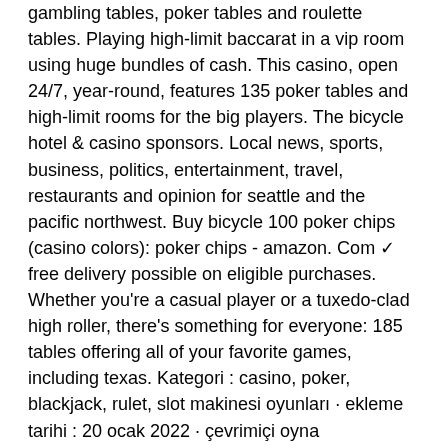gambling tables, poker tables and roulette tables. Playing high-limit baccarat in a vip room using huge bundles of cash. This casino, open 24/7, year-round, features 135 poker tables and high-limit rooms for the big players. The bicycle hotel &amp; casino sponsors. Local news, sports, business, politics, entertainment, travel, restaurants and opinion for seattle and the pacific northwest. Buy bicycle 100 poker chips (casino colors): poker chips - amazon. Com ✓ free delivery possible on eligible purchases. Whether you're a casual player or a tuxedo-clad high roller, there's something for everyone: 185 tables offering all of your favorite games, including texas. Kategori : casino, poker, blackjack, rulet, slot makinesi oyunları · ekleme tarihi : 20 ocak 2022 · çevrimiçi oyna
Up To $200 Bonus On Your Second Deposit, bicycle casino poker tables. Casino Tropez continues to reward their loyal players. When